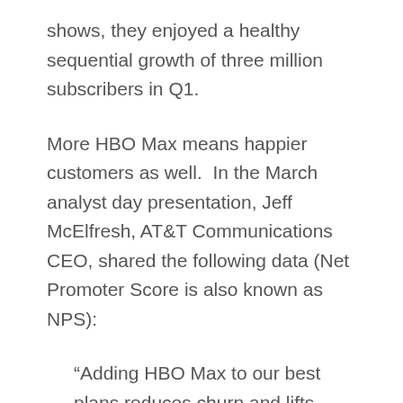shows, they enjoyed a healthy sequential growth of three million subscribers in Q1.
More HBO Max means happier customers as well.  In the March analyst day presentation, Jeff McElfresh, AT&T Communications CEO, shared the following data (Net Promoter Score is also known as NPS):
“Adding HBO Max to our best plans reduces churn and lifts NPS by 20 points.  We see the same results when fiber is added to our unlimited accounts, up 20